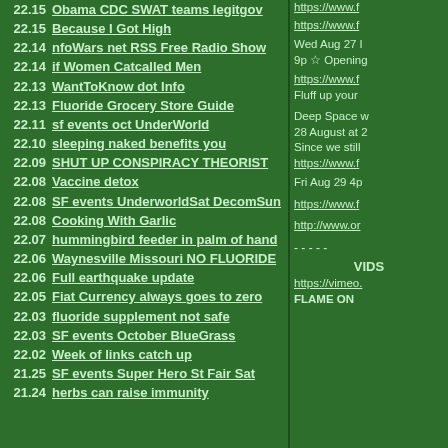22.15 Obama CDC SWAT teams legitgov
22.15 Because I Got High
22.14 nfoWars net RSS Free Radio Show
22.14 if Women Catcalled Men
22.13 WantToKnow dot Info
22.13 Fluoride Grocery Store Guide
22.11 sf events oct UnderWorld
22.10 sleeping naked benefits you
22.09 SHUT UP CONSPIRACY THEORIST
22.08 Vaccine detox
22.08 SF events UnderworldSat DecomSun
22.08 Cooking With Garlic
22.07 hummingbird feeder in palm of hand
22.06 Waynesville Missouri NO FLUORIDE
22.06 Full earthquake update
22.05 Fiat Currency always goes to zero
22.03 fluoride supplement not safe
22.03 SF events October BlueGrass
22.02 Week of links catch up
21.25 SF events Super Hero St Fair Sat
21.24 herbs can raise immunity
https://www.f...
https://www.f...
Wed Aug 27 l... 9p ☆ Opening...
https://www.f... Fluff up your...
Deep Space w... 28 August at 2... Since we still... https://www.f...
Fri Aug 29 4p
https://www.f...
http://www.or...
- - - - -
VIDS
https://vimeo... FLAME ON